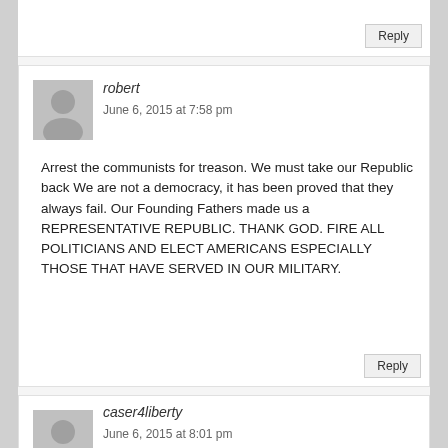Reply
robert
June 6, 2015 at 7:58 pm
Arrest the communists for treason. We must take our Republic back We are not a democracy, it has been proved that they always fail. Our Founding Fathers made us a REPRESENTATIVE REPUBLIC. THANK GOD. FIRE ALL POLITICIANS AND ELECT AMERICANS ESPECIALLY THOSE THAT HAVE SERVED IN OUR MILITARY.
Reply
caser4liberty
June 6, 2015 at 8:01 pm
Well of course she does; especially since she isn't leading in all of the polls. This would assure her a shoe in with many fraud voters and/or double voting. Guess she can't win